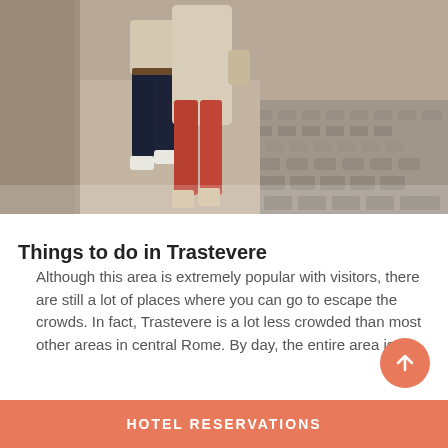[Figure (photo): Two people walking on a cobblestone alley in what appears to be Trastevere, Rome. One person wears dark navy pants with white sneakers and a light beige top; the other wears red/terracotta pants with sandals and a long beige coat, carrying a bag. The alley has stone walls.]
Things to do in Trastevere
Although this area is extremely popular with visitors, there are still a lot of places where you can go to escape the crowds. In fact, Trastevere is a lot less crowded than most other areas in central Rome. By day, the entire area is
HOTEL RESERVATIONS